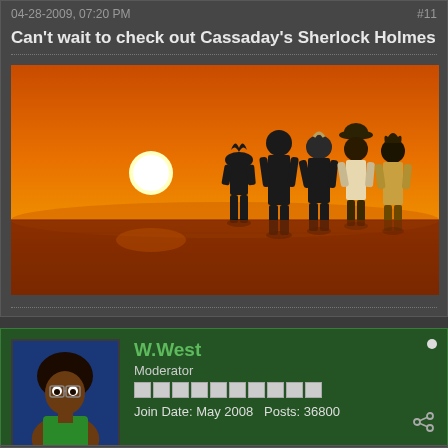04-28-2009, 07:20 PM    #11
Can't wait to check out Cassaday's Sherlock Holmes
[Figure (illustration): Anime-style illustration of five silhouetted figures standing and looking at an orange sunset over a flat landscape.]
W.West
Moderator
Join Date: May 2008    Posts: 36800
04-28-2009, 07:43 PM    #12
Green Lantern #40
Battle for the Cowl: The Underground
Superman #697